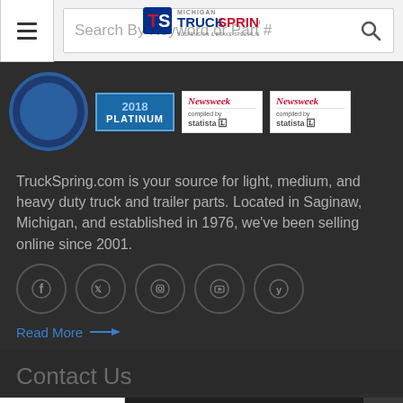[Figure (logo): Michigan TruckSpring logo with TS initials and tagline 'Suspension & Brake Specialist']
[Figure (screenshot): Search bar with hamburger menu and search icon, placeholder text 'Search By Keyword or Part #']
[Figure (infographic): Platinum badge labeled '2018 PLATINUM' in blue, two Newsweek/Statista badges on dark background]
TruckSpring.com is your source for light, medium, and heavy duty truck and trailer parts. Located in Saginaw, Michigan, and established in 1976, we've been selling online since 2001.
[Figure (infographic): Row of five social media circular icons: Facebook, Twitter, Instagram, YouTube, Yelp]
Read More →
Contact Us
[Figure (logo): TrustedSite certified secure badge]
Contact Us